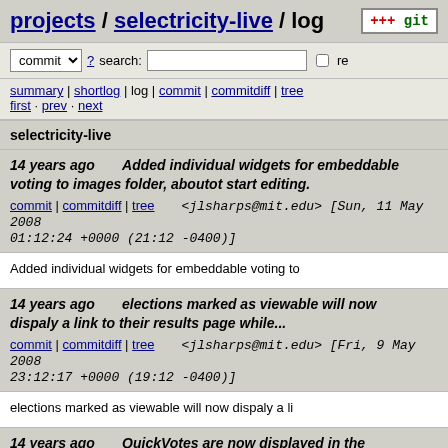projects / selectricity-live / log
commit ? search: re
summary | shortlog | log | commit | commitdiff | tree
first · prev · next
selectricity-live
14 years ago   Added individual widgets for embeddable voting to images folder, aboutot start editing.
commit | commitdiff | tree   <jlsharps@mit.edu> [Sun, 11 May 2008 01:12:24 +0000 (21:12 -0400)]
Added individual widgets for embeddable voting to
14 years ago   elections marked as viewable will now dispaly a link to their results page while...
commit | commitdiff | tree   <jlsharps@mit.edu> [Fri, 9 May 2008 23:12:17 +0000 (19:12 -0400)]
elections marked as viewable will now dispaly a li
14 years ago   QuickVotes are now displayed in the control panel list - and you can click on